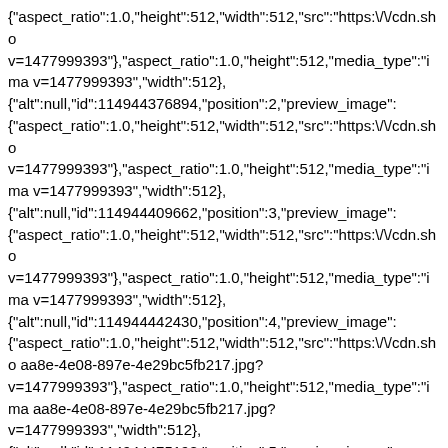{"aspect_ratio":1.0,"height":512,"width":512,"src":"https:\/\/cdn.sho v=1477999393"},"aspect_ratio":1.0,"height":512,"media_type":"ima v=1477999393","width":512}, {"alt":null,"id":114944376894,"position":2,"preview_image": {"aspect_ratio":1.0,"height":512,"width":512,"src":"https:\/\/cdn.sho v=1477999393"},"aspect_ratio":1.0,"height":512,"media_type":"ima v=1477999393","width":512}, {"alt":null,"id":114944409662,"position":3,"preview_image": {"aspect_ratio":1.0,"height":512,"width":512,"src":"https:\/\/cdn.sho v=1477999393"},"aspect_ratio":1.0,"height":512,"media_type":"ima v=1477999393","width":512}, {"alt":null,"id":114944442430,"position":4,"preview_image": {"aspect_ratio":1.0,"height":512,"width":512,"src":"https:\/\/cdn.sho aa8e-4e08-897e-4e29bc5fb217.jpg? v=1477999393"},"aspect_ratio":1.0,"height":512,"media_type":"ima aa8e-4e08-897e-4e29bc5fb217.jpg?v=1477999393","width":512}, {"alt":null,"id":114944475198,"position":5,"preview_image": {"aspect_ratio":1.0,"height":512,"width":512,"src":"https:\/\/cdn.sho 24ee-46a9-89f6-4fb7ee42a670.jpg? v=1477999393"},"aspect_ratio":1.0,"height":512,"media_type":"ima 24ee-46a9-89f6-4fb7ee42a670.jpg? v=1477999393","width":512}],"requires_selling_plan":false,"selling []},"content":"\u003cp\u003eFavourite sayings and quotes drawn from the most evocative literature.\u003c\/p\u003e\n\u003cp\u003eAudrey Hepburn (born